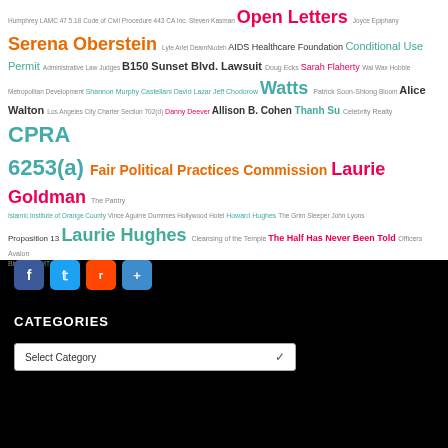[Figure (infographic): Tag cloud with various colored text tags including: Humphrey LAMC 47.5.18, Code of Civil Procedure 443, Open Letters, Joyce Epiphany, Serena Oberstein, Lyle, Arial DeamNudeh, AIDS Healthcare Foundation, Conditional Use Permit, Administrative Law Judges, B150 Sunset Blvd. Lawsuit, Doug Ecks, Sarah Flaherty, Wai Wax Hobble, Metropolitan Development, Shannon Murphy Castellani, David Lazar, Jeff Chodorow, Watts, Patrick Soon-Shiong, Bloom, Alice Walton, Los Angeles City Charter Section 702(d), Danny Deever, Allison B. Cohen, Thanh Su, Celebrity Realty, CPRA 6253(a), Fair Political Practices Commission, Laurie Goldman, The Pantry, Islamic Institute of Orange County, Vince Aguirre, Dummies, Hollywood Hotel, Howard Hughes, The Grim Sleeper, John Lyons, Proposition 13, Laurie Hughes, Cleansing of the Temple, The Half Has Never Been Told, Officers, Avalon Blvd, Butte MT]
[Figure (infographic): Social media sharing icons: Facebook (blue), Twitter (light blue), Reddit (orange-red), Share (blue)]
CATEGORIES
Select Category